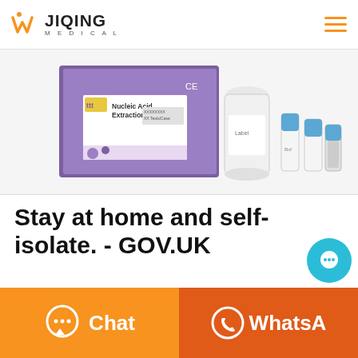[Figure (logo): W Jiqing Medical logo with orange W icon and text JIQING MEDICAL]
[Figure (photo): Nucleic Acid Extraction Kit product image showing a purple box labeled 'Nucleic Acid Extraction Kit' CE marked, alongside reagent bottles and vials with blue caps]
Stay at home and self-isolate. - GOV.UK
Stay at home and self-isolate. Please see detailed guidance online. In this household, Mike lives w... Georgie, Maria and Sovi. Mike is the first case of
[Figure (illustration): Blue circular chat support button with ellipsis (…) icon]
[Figure (illustration): Orange Chat button with speech bubble icon and label Chat]
[Figure (illustration): Orange-red WhatsApp button with WhatsApp phone icon and label WhatsApp]